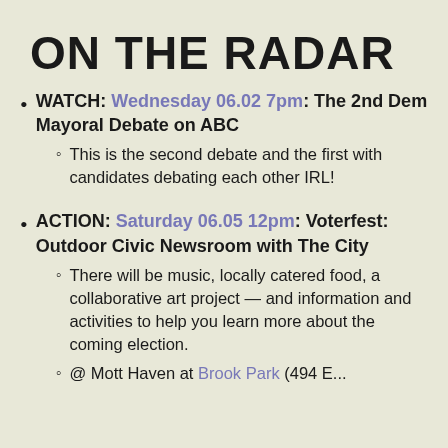ON THE RADAR
WATCH: Wednesday 06.02 7pm: The 2nd Dem Mayoral Debate on ABC
This is the second debate and the first with candidates debating each other IRL!
ACTION: Saturday 06.05 12pm: Voterfest: Outdoor Civic Newsroom with The City
There will be music, locally catered food, a collaborative art project — and information and activities to help you learn more about the coming election.
@ Mott Haven at Brook Park (494 E...